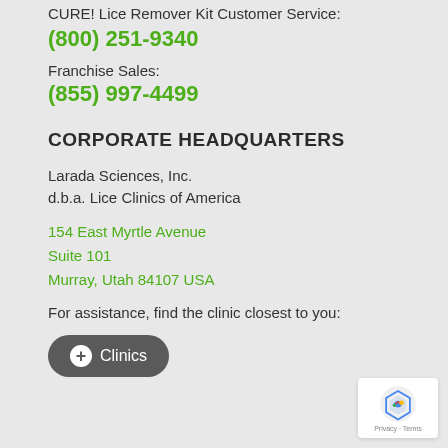CURE! Lice Remover Kit Customer Service:
(800) 251-9340
Franchise Sales:
(855) 997-4499
CORPORATE HEADQUARTERS
Larada Sciences, Inc.
d.b.a. Lice Clinics of America
154 East Myrtle Avenue
Suite 101
Murray, Utah 84107 USA
For assistance, find the clinic closest to you:
[Figure (other): Button labeled '+ Clinics' in dark grey rounded rectangle]
[Figure (other): reCAPTCHA widget with Google logo, Privacy and Terms text]